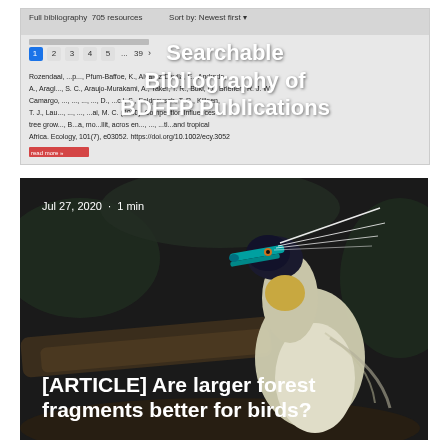[Figure (screenshot): Screenshot of a searchable bibliography website showing 'Full bibliography 705 resources' with pagination (1 2 3 4 5 ... 39) and a reference entry. Overlaid with bold white text: 'Searchable Bibliography of BDFFP Publications'.]
[Figure (photo): Article card thumbnail showing a bird (capped heron) with teal beak and white plumes against dark forest background. Text overlay: 'Jul 27, 2020 · 1 min' and '[ARTICLE] Are larger forest fragments better for birds?']